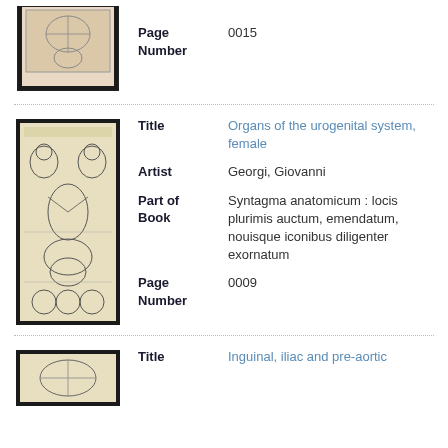[Figure (illustration): Thumbnail of an anatomical illustration, partially visible at top of page]
| Page Number | 0015 |
[Figure (illustration): Anatomical illustration showing organs of the urogenital system, female. Pen and ink style engraving with multiple views.]
| Title | Organs of the urogenital system, female |
| Artist | Georgi, Giovanni |
| Part of Book | Syntagma anatomicum : locis plurimis auctum, emendatum, nouisque iconibus diligenter exornatum |
| Page Number | 0009 |
[Figure (illustration): Thumbnail of another anatomical illustration, partially visible at bottom of page]
| Title | Inguinal, iliac and pre-aortic... |